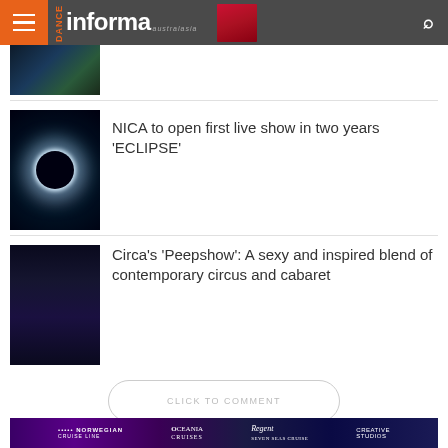Dance Informa
[Figure (photo): Partial view of a dance/circus performance photo, cropped at top]
NICA to open first live show in two years ‘ECLIPSE’
[Figure (photo): Dark photo showing an eclipse effect with glowing ring, performers silhouetted]
Circa’s ‘Peepshow’: A sexy and inspired blend of contemporary circus and cabaret
[Figure (photo): Dark photo of circus performers in dramatic pose with blue/purple lighting]
CLICK TO COMMENT
[Figure (photo): Advertisement banner featuring Norwegian Cruise Line, Oceania Cruises, Regent Seven Seas Cruise, Creative Studios]